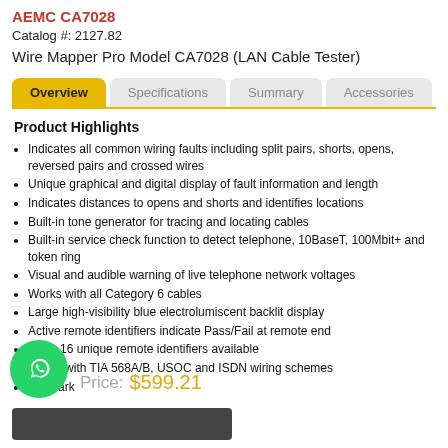AEMC CA7028
Catalog #: 2127.82
Wire Mapper Pro Model CA7028 (LAN Cable Tester)
Overview | Specifications | Summary | Accessories
Product Highlights
Indicates all common wiring faults including split pairs, shorts, opens, reversed pairs and crossed wires
Unique graphical and digital display of fault information and length
Indicates distances to opens and shorts and identifies locations
Built-in tone generator for tracing and locating cables
Built-in service check function to detect telephone, 10BaseT, 100Mbit+ and token ring
Visual and audible warning of live telephone network voltages
Works with all Category 6 cables
Large high-visibility blue electrolumiscent backlit display
Active remote identifiers indicate Pass/Fail at remote end
Up to 16 unique remote identifiers available
Works with TIA 568A/B, USOC and ISDN wiring schemes
CE Mark
Price:  $599.21